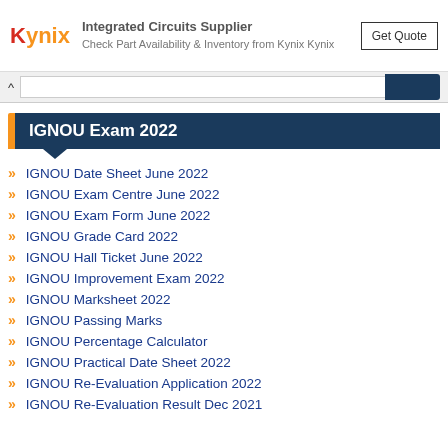[Figure (other): Kynix advertisement banner: logo with 'Kynix' text, 'Integrated Circuits Supplier' heading, 'Check Part Availability & Inventory from Kynix Kynix' subtext, and 'Get Quote' button]
IGNOU Exam 2022
IGNOU Date Sheet June 2022
IGNOU Exam Centre June 2022
IGNOU Exam Form June 2022
IGNOU Grade Card 2022
IGNOU Hall Ticket June 2022
IGNOU Improvement Exam 2022
IGNOU Marksheet 2022
IGNOU Passing Marks
IGNOU Percentage Calculator
IGNOU Practical Date Sheet 2022
IGNOU Re-Evaluation Application 2022
IGNOU Re-Evaluation Result Dec 2021